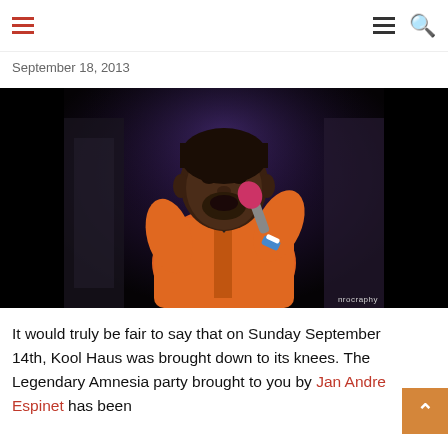Navigation header with hamburger menus and search icon
September 18, 2013
[Figure (photo): A man in an orange jacket singing into a microphone on stage, lit with purple/blue stage lighting. Photo credit: nrocraphy]
It would truly be fair to say that on Sunday September 14th, Kool Haus was brought down to its knees. The Legendary Amnesia party brought to you by Jan Andre Espinet has been